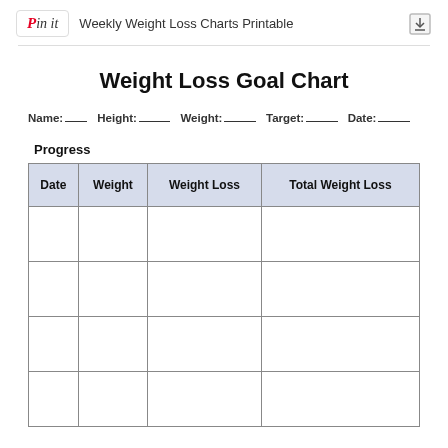Pin it   Weekly Weight Loss Charts Printable
Weight Loss Goal Chart
Name: ______  Height: ________  Weight: ________  Target: ________  Date: ________
Progress
| Date | Weight | Weight Loss | Total Weight Loss |
| --- | --- | --- | --- |
|  |  |  |  |
|  |  |  |  |
|  |  |  |  |
|  |  |  |  |